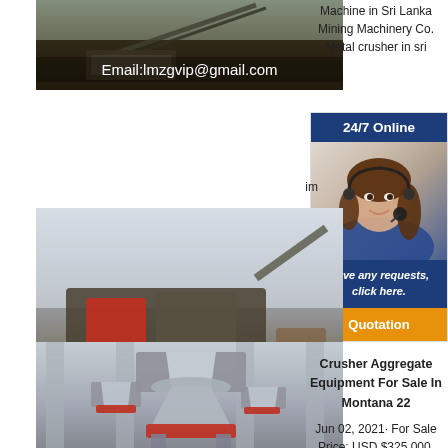[Figure (photo): Mining/crushing machinery at a quarry site with dark ground, email overlay text]
Email:lmzgvip@gmail.com
Machine in Sri Lanka Mining Machinery Co. Metal crusher in sri
[Figure (photo): Mobile crushing plant on tracks at construction site]
Email:lmzgvip@gmail.com
[Figure (infographic): 24/7 Online support widget with customer service representative photo, Have any requests click here CTA, and Quotation button]
im
O
Cr La in
[Figure (photo): Industrial cone crusher machine in factory/warehouse setting]
Crusher Aggregate Equipment For Sale In Montana 22
Jun 02, 2021· For Sale Price: USD $325,000. Used